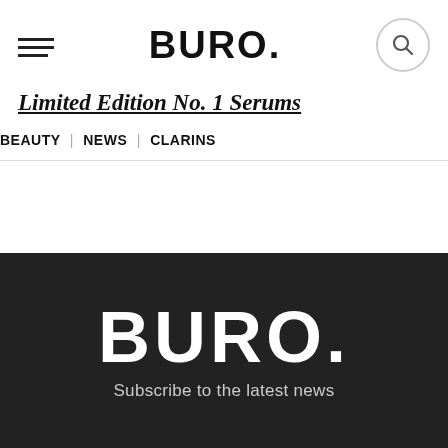BURO.
Limited Edition No. 1 Serums
BEAUTY | NEWS | CLARINS
[Figure (logo): BURO. logo in white on dark background with 'Subscribe to the latest news' tagline]